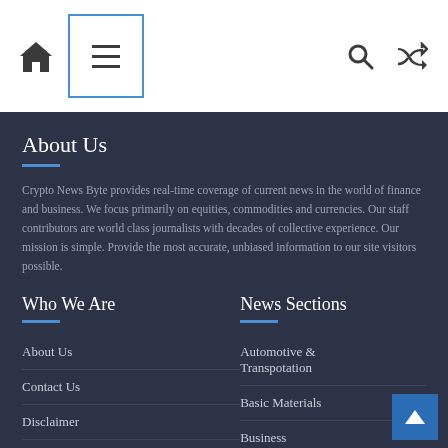Navigation header with home icon, menu icon, search icon, shuffle icon
About Us
Crypto News Byte provides real-time coverage of current news in the world of finance and business. We focus primarily on equities, commodities and currencies. Our staff contributors are world class journalists with decades of collective experience. Our mission is simple. Provide the most accurate, unbiased information to our site visitors possible.
Who We Are
About Us
Contact Us
Disclaimer
Privacy Policy
News Sections
Automotive & Transpotation
Basic Materials
Business